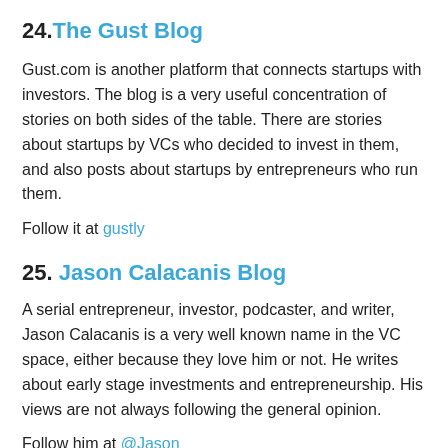24. The Gust Blog
Gust.com is another platform that connects startups with investors. The blog is a very useful concentration of stories on both sides of the table. There are stories about startups by VCs who decided to invest in them, and also posts about startups by entrepreneurs who run them.
Follow it at gustly
25. Jason Calacanis Blog
A serial entrepreneur, investor, podcaster, and writer, Jason Calacanis is a very well known name in the VC space, either because they love him or not. He writes about early stage investments and entrepreneurship. His views are not always following the general opinion.
Follow him at @Jason